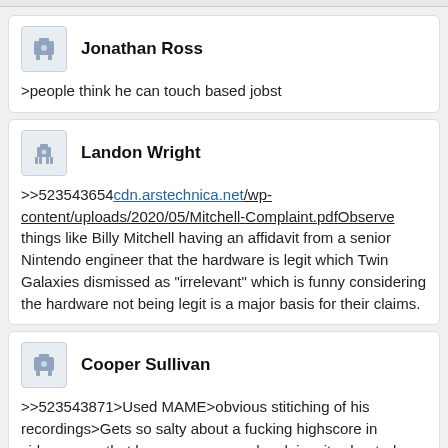Jonathan Ross
>people think he can touch based jobst
Landon Wright
>>523543654cdn.arstechnica.net/wp-content/uploads/2020/05/Mitchell-Complaint.pdfObserve things like Billy Mitchell having an affidavit from a senior Nintendo engineer that the hardware is legit which Twin Galaxies dismissed as "irrelevant" which is funny considering the hardware not being legit is a major basis for their claims.
Cooper Sullivan
>>523543871>Used MAME>obvious stitiching of his recordings>Gets so salty about a fucking highscore in videogames that he sues anyone who claims its cheated, which most cheaters have done in the past